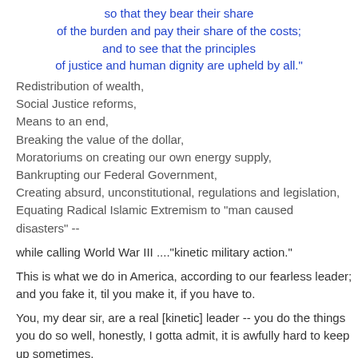so that they bear their share of the burden and pay their share of the costs; and to see that the principles of justice and human dignity are upheld by all."
Redistribution of wealth,
Social Justice reforms,
Means to an end,
Breaking the value of the dollar,
Moratoriums on creating our own energy supply,
Bankrupting our Federal Government,
Creating absurd, unconstitutional, regulations and legislation,
Equating Radical Islamic Extremism to "man caused disasters" --
while calling World War III ...."kinetic military action."
This is what we do in America, according to our fearless leader; and you fake it, til you make it, if you have to.
You, my dear sir, are a real [kinetic] leader -- you do the things you do so well, honestly, I gotta admit, it is awfully hard to keep up sometimes.